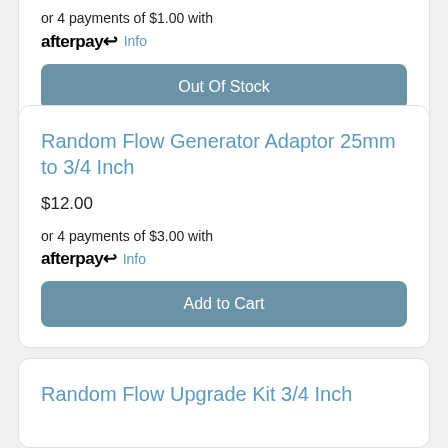or 4 payments of $1.00 with afterpay Info
Out Of Stock
Random Flow Generator Adaptor 25mm to 3/4 Inch
$12.00
or 4 payments of $3.00 with afterpay Info
Add to Cart
Random Flow Upgrade Kit 3/4 Inch